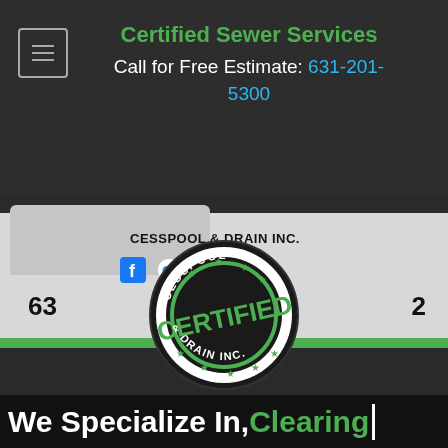Certified Sewer Services
Call for Free Estimate: 631-201-5300
[Figure (photo): White service van with 'CESSPOOL & DRAIN INC.' text, a green stripe along the bottom, social media icons, a partial phone number, and a circular certified stamp logo overlay on a dark background.]
We Specialize In, Clearing